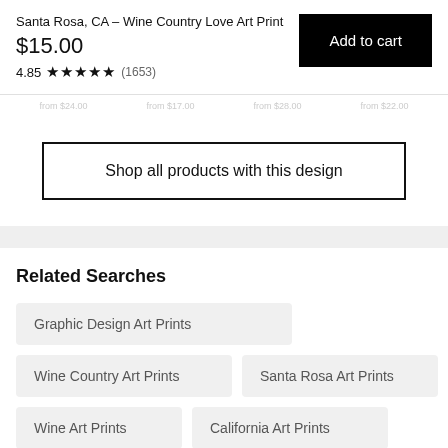Santa Rosa, CA – Wine Country Love Art Print
$15.00
4.85 ★★★★★ (1653)
Add to cart
Shop all products with this design
Related Searches
Graphic Design Art Prints
Wine Country Art Prints
Santa Rosa Art Prints
Wine Art Prints
California Art Prints